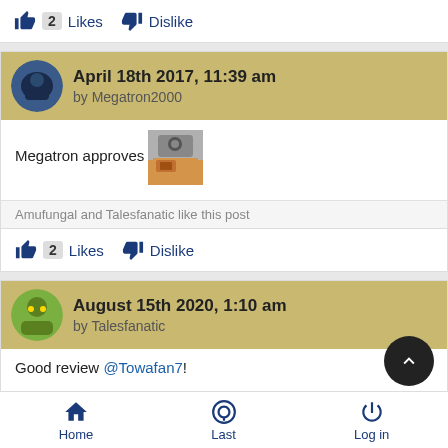2 Likes  Dislike
April 18th 2017, 11:39 am by Megatron2000
Megatron approves [image]
Amufungal and Talesfanatic like this post
2 Likes  Dislike
August 15th 2020, 1:10 am by Talesfanatic
Good review @Towafan7!
Home  Last  Log in